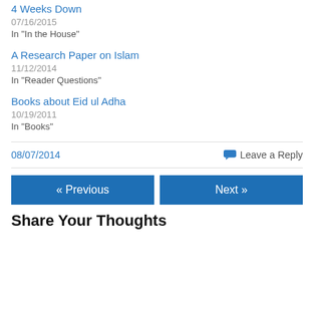4 Weeks Down
07/16/2015
In "In the House"
A Research Paper on Islam
11/12/2014
In "Reader Questions"
Books about Eid ul Adha
10/19/2011
In "Books"
08/07/2014
Leave a Reply
« Previous
Next »
Share Your Thoughts